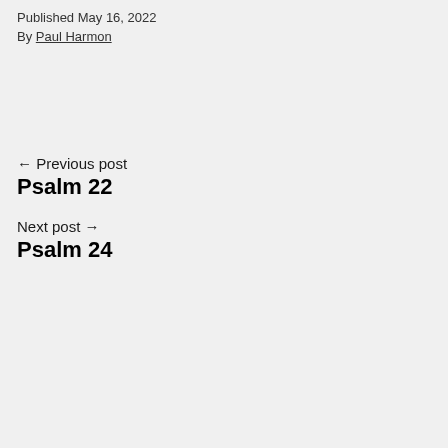Published May 16, 2022
By Paul Harmon
← Previous post
Psalm 22
Next post →
Psalm 24